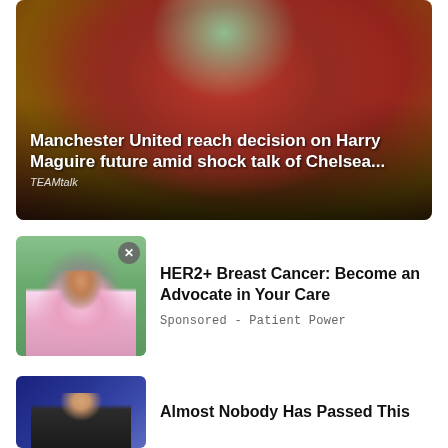[Figure (photo): Football player in Manchester United red jersey with TeamViewer sponsor, looking concerned, crowd in background]
Manchester United reach decision on Harry Maguire future amid shock talk of Chelsea...
TEAMtalk
[Figure (photo): Older woman with grey hair wearing pink shirt with breast cancer awareness ribbon, standing outdoors]
HER2+ Breast Cancer: Become an Advocate in Your Care
Sponsored - Patient Power
[Figure (photo): Person partially visible at bottom of page]
Almost Nobody Has Passed This